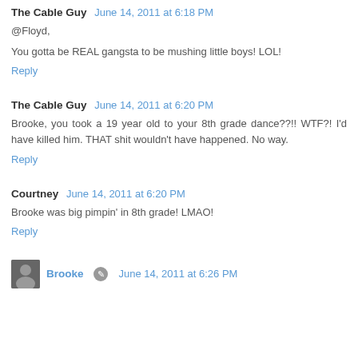The Cable Guy  June 14, 2011 at 6:18 PM
@Floyd,
You gotta be REAL gangsta to be mushing little boys! LOL!
Reply
The Cable Guy  June 14, 2011 at 6:20 PM
Brooke, you took a 19 year old to your 8th grade dance??!! WTF?! I'd have killed him. THAT shit wouldn't have happened. No way.
Reply
Courtney  June 14, 2011 at 6:20 PM
Brooke was big pimpin' in 8th grade! LMAO!
Reply
Brooke  June 14, 2011 at 6:26 PM